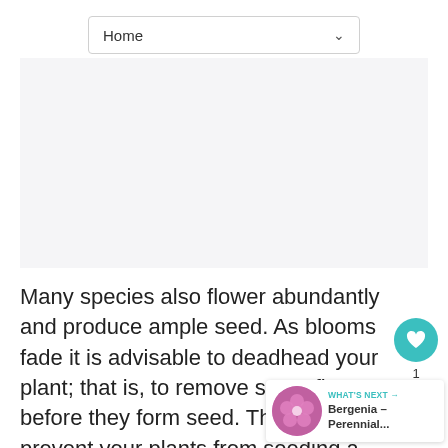Home
[Figure (other): Advertisement or blank content area placeholder]
Many species also flower abundantly and produce ample seed. As blooms fade it is advisable to deadhead your plant; that is, to remove spent flowers before they form seed. This will prevent your plants from seeding all over the garden and will conserve the considerable energy it takes the plant to produce seed.
[Figure (other): Heart/favorite button with teal background, count badge showing 1, and share button]
[Figure (other): What's Next panel showing Bergenia – Perennial... with pink flower thumbnail]